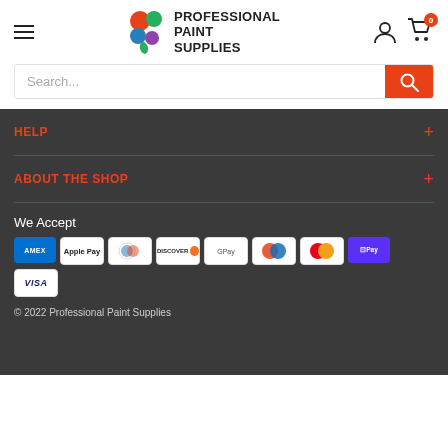[Figure (logo): Professional Paint Supplies logo with colorful circles and bold text]
Search...
HELP
ABOUT THE SHOP
We Accept
[Figure (infographic): Payment method badges: American Express, Apple Pay, Diners Club, Discover, Google Pay, Maestro, Mastercard, Shop Pay, Visa]
© 2022 Professional Paint Supplies